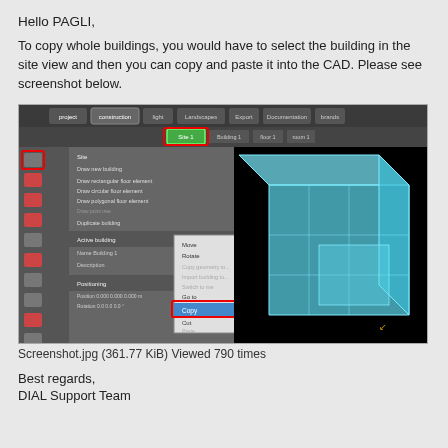Hello PAGLI,
To copy whole buildings, you would have to select the building in the site view and then you can copy and paste it into the CAD. Please see screenshot below.
[Figure (screenshot): Software screenshot showing a 3D building CAD tool with a context menu open highlighting 'Copy' option with Strg+C shortcut, and a 3D blue wireframe building model on the right. Red rectangles highlight the 'Site 1' tab and a toolbar icon. An arrow points to the Copy menu item.]
Screenshot.jpg (361.77 KiB) Viewed 790 times
Best regards,
DIAL Support Team